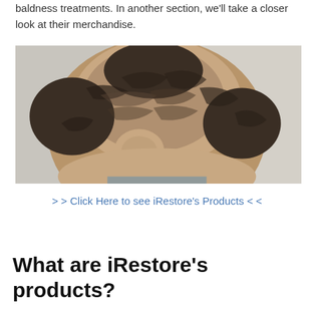baldness treatments. In another section, we'll take a closer look at their merchandise.
[Figure (photo): Close-up photo of the top of a man's head showing significant male pattern baldness with thinning hair on the crown area.]
> > Click Here to see iRestore's Products < <
What are iRestore's products?